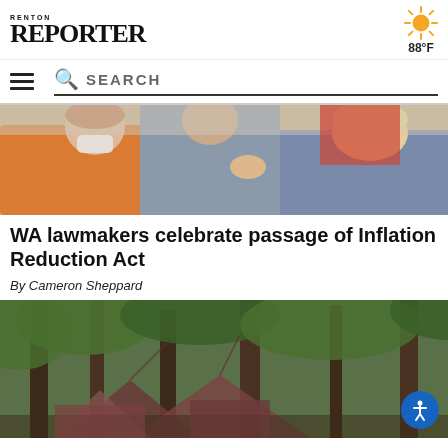RENTON REPORTER
[Figure (photo): Weather icon showing sun symbol with 88°F temperature]
[Figure (screenshot): Navigation bar with hamburger menu and search bar]
[Figure (photo): People shaking hands at an indoor event, one wearing a mask and orange cardigan]
WA lawmakers celebrate passage of Inflation Reduction Act
By Cameron Sheppard
[Figure (photo): Outdoor scene showing tents among trees in a wooded area]